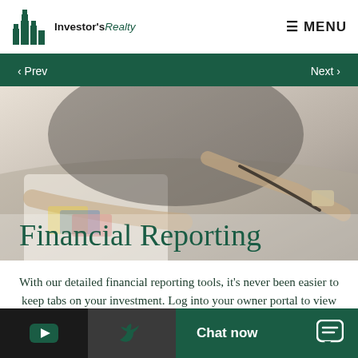Investor's Realty — MENU
‹ Prev   Next ›
[Figure (photo): Person writing/reviewing financial documents at a desk with pen in hand, muted/faded background image]
Financial Reporting
With our detailed financial reporting tools, it's never been easier to keep tabs on your investment. Log into your owner portal to view statements & more.
YouTube icon | Twitter icon | Chat now